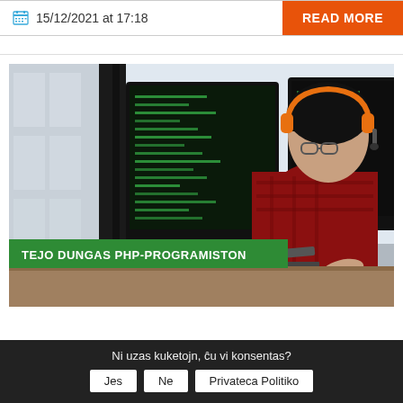15/12/2021 at 17:18 | READ MORE
[Figure (photo): Person with orange headphones sitting at a desk with multiple monitors showing code. Green banner overlay reads: TEJO DUNGAS PHP-PROGRAMISTON]
TEJO DUNGAS PHP-PROGRAMISTON
Ni uzas kuketojn, ĉu vi konsentas?
Jes | Ne | Privateca Politiko